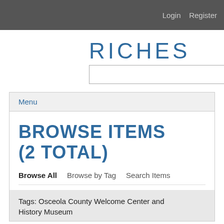Login   Register
RICHES
[Figure (other): Search input bar with blue search button]
Menu
BROWSE ITEMS (2 TOTAL)
Browse All   Browse by Tag   Search Items
Tags: Osceola County Welcome Center and History Museum